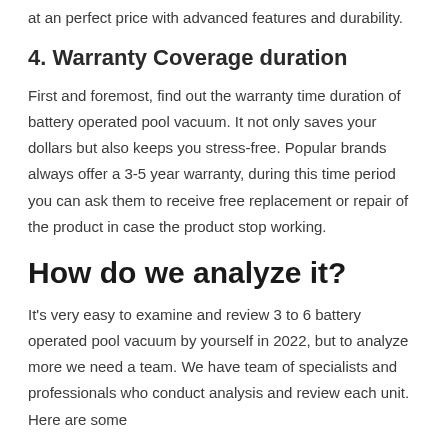at an perfect price with advanced features and durability.
4. Warranty Coverage duration
First and foremost, find out the warranty time duration of battery operated pool vacuum. It not only saves your dollars but also keeps you stress-free. Popular brands always offer a 3-5 year warranty, during this time period you can ask them to receive free replacement or repair of the product in case the product stop working.
How do we analyze it?
It's very easy to examine and review 3 to 6 battery operated pool vacuum by yourself in 2022, but to analyze more we need a team. We have team of specialists and professionals who conduct analysis and review each unit. Here are some